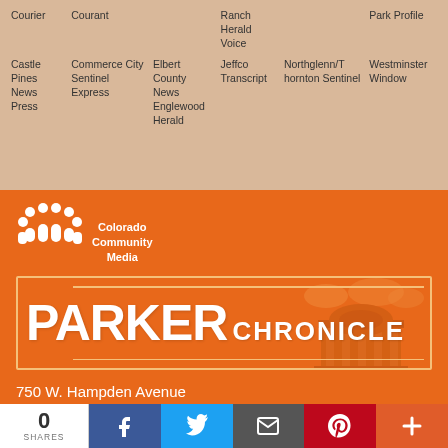| Courier | Courant |  | Ranch Herald Voice |  | Park Profile |
| Castle Pines News Press | Commerce City Sentinel Express | Elbert County News
Englewood Herald | Jeffco Transcript | Northglenn/Thornton Sentinel | Westminster Window |
[Figure (logo): Colorado Community Media logo with people icons]
[Figure (logo): Parker Chronicle newspaper banner logo on orange background with building illustration]
750 W. Hampden Avenue
Suite #225
Englewood, CO 80110
1-303-566-4100
0 SHARES
[Figure (infographic): Social sharing bar with Facebook, Twitter, Email, Pinterest, and More buttons]